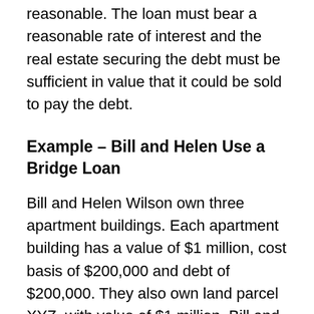as long as the terms are commercially reasonable. The loan must bear a reasonable rate of interest and the real estate securing the debt must be sufficient in value that it could be sold to pay the debt.
Example – Bill and Helen Use a Bridge Loan
Bill and Helen Wilson own three apartment buildings. Each apartment building has a value of $1 million, cost basis of $200,000 and debt of $200,000. They also own land parcel XYZ, with value of $1 million. Bill and Helen borrow $600,000 on parcel XYZ and pay off Buildings A, B and C. They then transfer